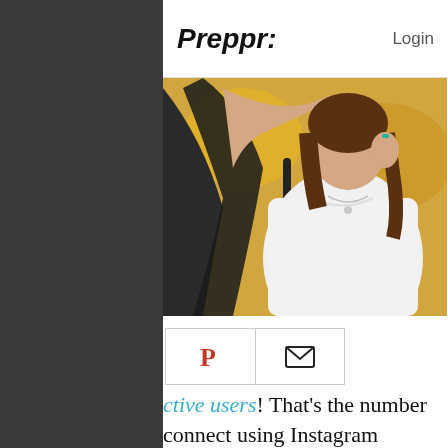Preppr: Login
[Figure (photo): Young woman in white t-shirt with shoulder bag, outdoors with yellow background, reaching up with one arm]
[Figure (infographic): Social share buttons: Pinterest (red P icon) and Email (envelope icon) in bordered cells]
ctive users! That's the number connect using Instagram g it a vital platform for any on- edia strategy.